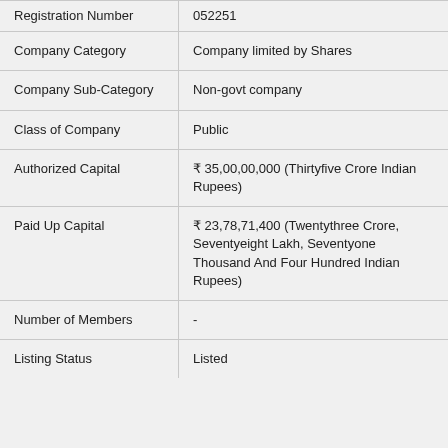| Field | Value |
| --- | --- |
| Registration Number | 052251 |
| Company Category | Company limited by Shares |
| Company Sub-Category | Non-govt company |
| Class of Company | Public |
| Authorized Capital | ₹ 35,00,00,000 (Thirtyfive Crore Indian Rupees) |
| Paid Up Capital | ₹ 23,78,71,400 (Twentythree Crore, Seventyeight Lakh, Seventyone Thousand And Four Hundred Indian Rupees) |
| Number of Members | - |
| Listing Status | Listed |